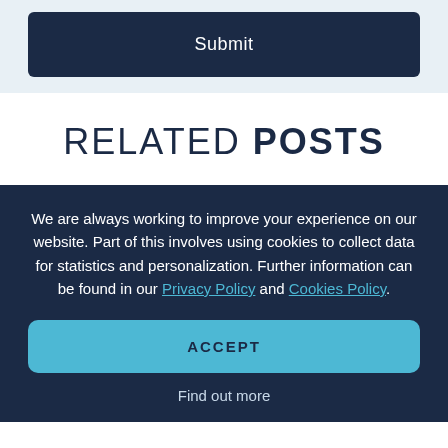[Figure (screenshot): Submit button — dark navy rounded rectangle with white 'Submit' text]
RELATED POSTS
We are always working to improve your experience on our website. Part of this involves using cookies to collect data for statistics and personalization. Further information can be found in our Privacy Policy and Cookies Policy.
ACCEPT
Find out more